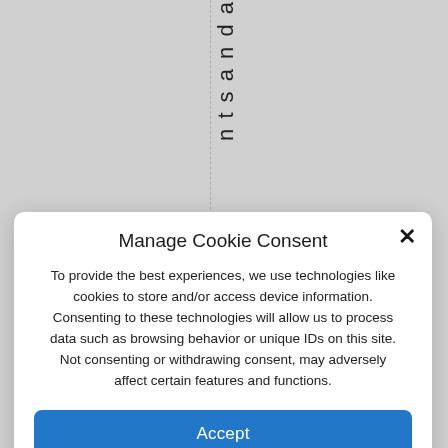ntsand a
Manage Cookie Consent
To provide the best experiences, we use technologies like cookies to store and/or access device information. Consenting to these technologies will allow us to process data such as browsing behavior or unique IDs on this site. Not consenting or withdrawing consent, may adversely affect certain features and functions.
Accept
Deny
View preferences